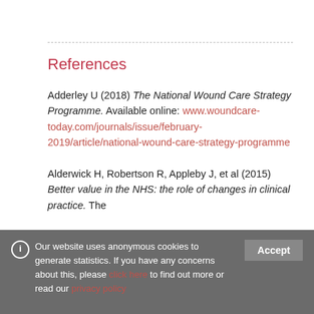References
Adderley U (2018) The National Wound Care Strategy Programme. Available online: www.woundcare-today.com/journals/issue/february-2019/article/national-wound-care-strategy-programme
Alderwick H, Robertson R, Appleby J, et al (2015) Better value in the NHS: the role of changes in clinical practice. The
Our website uses anonymous cookies to generate statistics. If you have any concerns about this, please click here to find out more or read our privacy policy